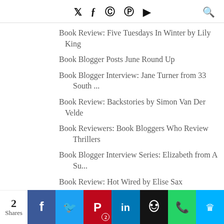Twitter Facebook Pinterest Instagram YouTube Search
Book Review: Five Tuesdays In Winter by Lily King
Book Blogger Posts June Round Up
Book Blogger Interview: Jane Turner from 33 South ...
Book Review: Backstories by Simon Van Der Velde
Book Reviewers: Book Bloggers Who Review Thrillers
Book Blogger Interview Series: Elizabeth from A Su...
Book Review: Hot Wired by Elise Sax
Book Review: Victim of a Delusional Mind by KJ North
Book Blogger Interview: Michael Everts from FIT 2B...
2021 Challenges: May Update
2 Shares | Facebook | Twitter | Pinterest 2 | LinkedIn | Hootsuite | WhatsApp | King